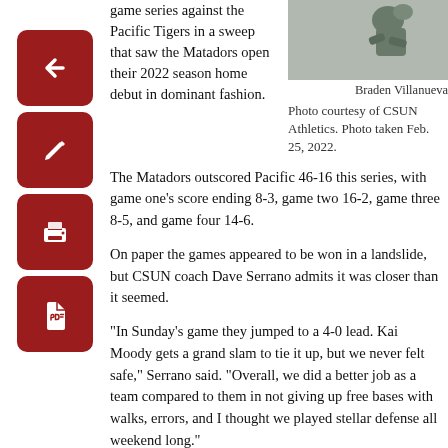game series against the Pacific Tigers in a sweep that saw the Matadors open their 2022 season home debut in dominant fashion.
[Figure (photo): Baseball player in action, photo courtesy of CSUN Athletics, taken Feb. 25, 2022.]
Braden Villanueva
Photo courtesy of CSUN Athletics. Photo taken Feb. 25, 2022.
The Matadors outscored Pacific 46-16 this series, with game one’s score ending 8-3, game two 16-2, game three 8-5, and game four 14-6.
On paper the games appeared to be won in a landslide, but CSUN coach Dave Serrano admits it was closer than it seemed.
“In Sunday’s game they jumped to a 4-0 lead. Kai Moody gets a grand slam to tie it up, but we never felt safe,” Serrano said. “Overall, we did a better job as a team compared to them in not giving up free bases with walks, errors, and I thought we played stellar defense all weekend long.”
Limiting errors in the series against Pacific helped the team put together a solid defensive outing. They only committed one error compared to last weekend’s series against UCLA that saw the Matadors commit six errors.
Complimenting the team’s defense was the offense, whose bats